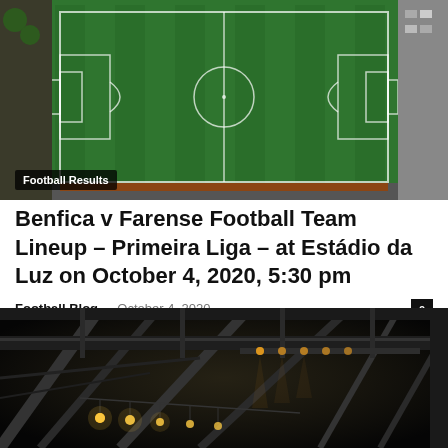[Figure (photo): Aerial view of a football pitch with green grass and white pitch markings]
Football Results
Benfica v Farense Football Team Lineup – Primeira Liga – at Estádio da Luz on October 4, 2020, 5:30 pm
Football Blog – October 4, 2020
[Figure (photo): Interior of a stadium at night showing structural beams and stage lights]